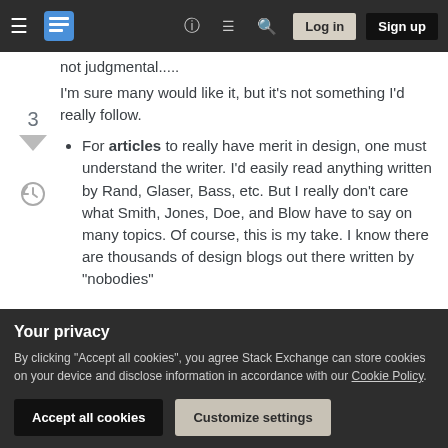Stack Exchange navigation bar with hamburger menu, logo, help, chat, search icons, Log in and Sign up buttons
not judgmental.....
I'm sure many would like it, but it's not something I'd really follow.
For articles to really have merit in design, one must understand the writer. I'd easily read anything written by Rand, Glaser, Bass, etc. But I really don't care what Smith, Jones, Doe, and Blow have to say on many topics. Of course, this is my take. I know there are thousands of design blogs out there written by "nobodies"
Your privacy
By clicking "Accept all cookies", you agree Stack Exchange can store cookies on your device and disclose information in accordance with our Cookie Policy.
Accept all cookies
Customize settings
processes behind it.